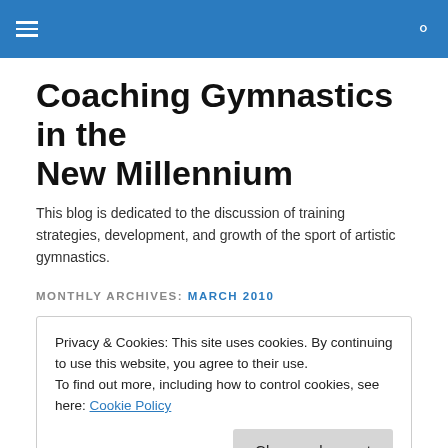Coaching Gymnastics in the New Millennium
Coaching Gymnastics in the New Millennium
This blog is dedicated to the discussion of training strategies, development, and growth of the sport of artistic gymnastics.
MONTHLY ARCHIVES: MARCH 2010
Privacy & Cookies: This site uses cookies. By continuing to use this website, you agree to their use.
To find out more, including how to control cookies, see here: Cookie Policy
Close and accept
most of the warm up for a meet. In 2 of these cases, on